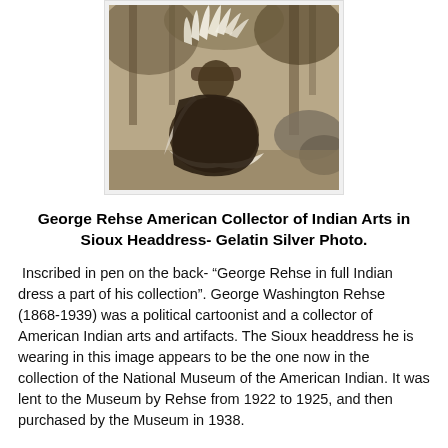[Figure (photo): Sepia-toned historic photograph of a person wearing a full Sioux feather headdress and traditional Native American dress, crouching outdoors among trees and rocks.]
George Rehse American Collector of Indian Arts in Sioux Headdress- Gelatin Silver Photo.
Inscribed in pen on the back- “George Rehse in full Indian dress a part of his collection”. George Washington Rehse (1868-1939) was a political cartoonist and a collector of American Indian arts and artifacts. The Sioux headdress he is wearing in this image appears to be the one now in the collection of the National Museum of the American Indian. It was lent to the Museum by Rehse from 1922 to 1925, and then purchased by the Museum in 1938.